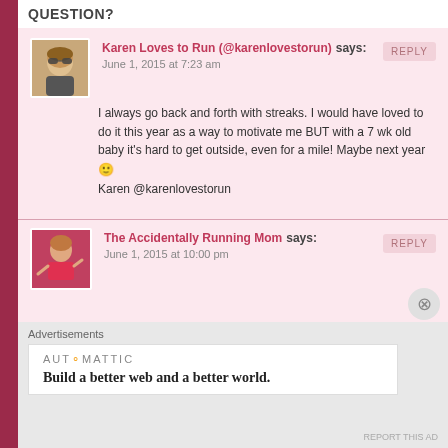QUESTION?
Karen Loves to Run (@karenlovestorun) says:
June 1, 2015 at 7:23 am
I always go back and forth with streaks. I would have loved to do it this year as a way to motivate me BUT with a 7 wk old baby it's hard to get outside, even for a mile! Maybe next year 🙂
Karen @karenlovestorun
The Accidentally Running Mom says:
June 1, 2015 at 10:00 pm
Advertisements
AUTOMATTIC
Build a better web and a better world.